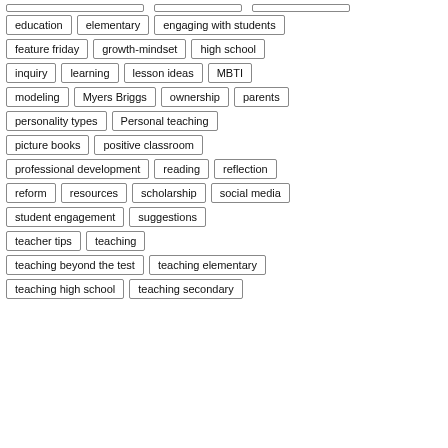education
elementary
engaging with students
feature friday
growth-mindset
high school
inquiry
learning
lesson ideas
MBTI
modeling
Myers Briggs
ownership
parents
personality types
Personal teaching
picture books
positive classroom
professional development
reading
reflection
reform
resources
scholarship
social media
student engagement
suggestions
teacher tips
teaching
teaching beyond the test
teaching elementary
teaching high school
teaching secondary